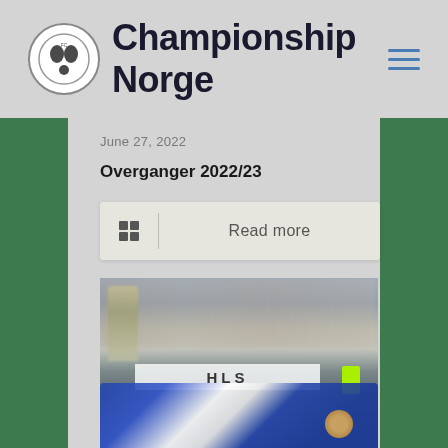Championship Norge
June 27, 2022
Overganger 2022/23
Read more
[Figure (photo): A football match scene showing a player on the ground in blue and white kit, with a crowd in the background and a manager standing on the sideline. A white advertising banner is visible in the middle ground.]